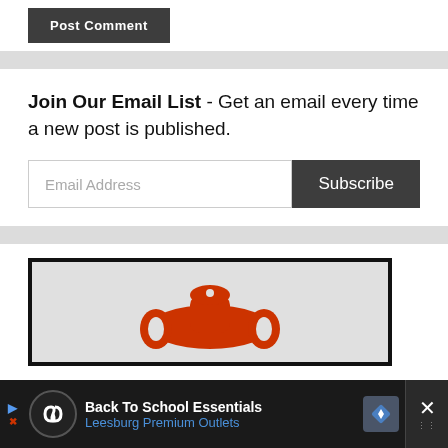[Figure (screenshot): Partial 'Post Comment' button, dark gray background with white text]
Join Our Email List - Get an email every time a new post is published.
[Figure (screenshot): Email address input field with placeholder 'Email Address' and a dark gray 'Subscribe' button]
[Figure (photo): Partial product image showing an orange tool/wrench handle shape on a light gray background with dark border]
[Figure (screenshot): Advertisement bar at bottom: 'Back To School Essentials' from 'Leesburg Premium Outlets' with navigation arrow icon and close button]